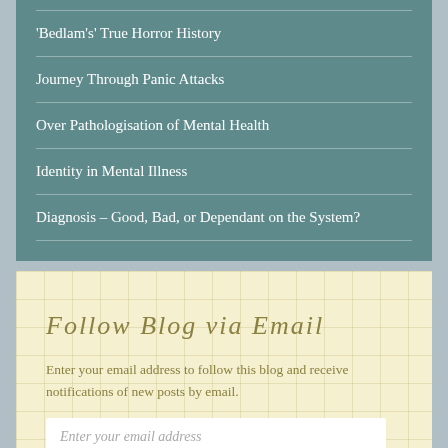‘Bedlam’s’ True Horror History
Journey Through Panic Attacks
Over Pathologisation of Mental Health
Identity in Mental Illness
Diagnosis – Good, Bad, or Dependant on the System?
Follow Blog via Email
Enter your email address to follow this blog and receive notifications of new posts by email.
Enter your email address